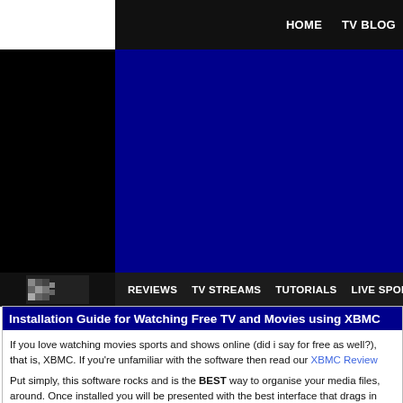HOME  TV BLOG
[Figure (screenshot): Website navigation bar with dark background showing REVIEWS, TV STREAMS, TUTORIALS, LIVE SPORTS links]
Installation Guide for Watching Free TV and Movies using XBMC
If you love watching movies sports and shows online (did i say for free as well?), that is, XBMC. If you're unfamiliar with the software then read our XBMC Review
Put simply, this software rocks and is the BEST way to organise your media files, around. Once installed you will be presented with the best interface that drags in and much, much more.
But thats not all... You can also install a number of add-ons (a bit like apps on you shows that update daily. You can also customize the look of the software by addin
Sounds good? Then check out this great XBMC installation guide, and start enjoy customize XBMC.
XBMC is the number one media centre and player that can be installed on most c you the ability to watch all your networked media files including movies, music, pi